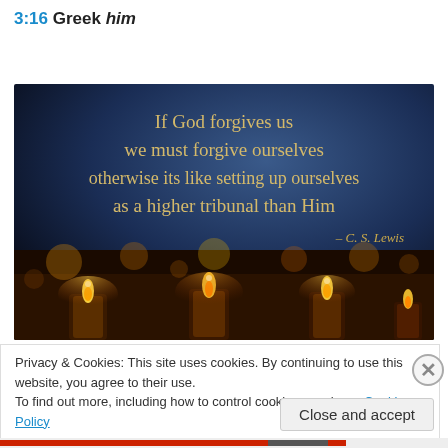3:16 Greek him
[Figure (illustration): Dark background image with candles in the foreground and a C.S. Lewis quote: 'If God forgives us we must forgive ourselves otherwise its like setting up ourselves as a higher tribunal than Him – C. S. Lewis']
Privacy & Cookies: This site uses cookies. By continuing to use this website, you agree to their use.
To find out more, including how to control cookies, see here: Cookie Policy